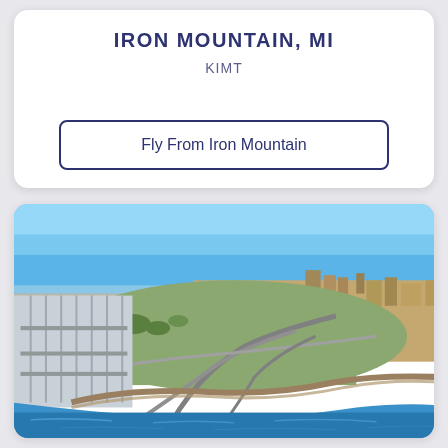IRON MOUNTAIN, MI
KIMT
Fly From Iron Mountain
[Figure (photo): Aerial drone view of Iron Mountain area showing a lake/river with a marina and boat docks on the left, roads and urban development in the center, and blue water in the foreground, under a clear blue sky.]